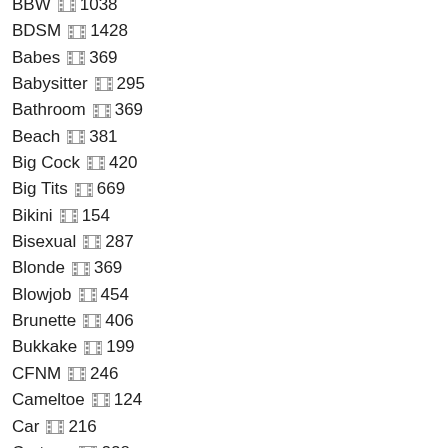BBW 🎬 1038
BDSM 🎬 1428
Babes 🎬 369
Babysitter 🎬 295
Bathroom 🎬 369
Beach 🎬 381
Big Cock 🎬 420
Big Tits 🎬 669
Bikini 🎬 154
Bisexual 🎬 287
Blonde 🎬 369
Blowjob 🎬 454
Brunette 🎬 406
Bukkake 🎬 199
CFNM 🎬 246
Cameltoe 🎬 124
Car 🎬 216
Cartoon 🎬 228